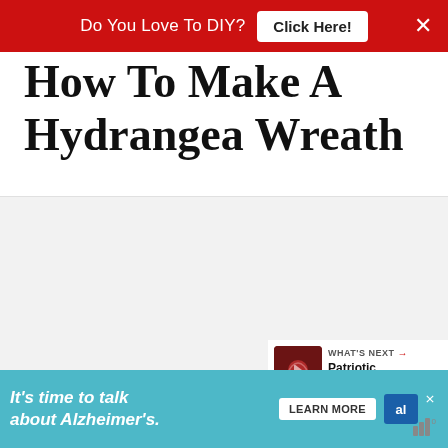Do You Love To DIY? Click Here!
How To Make A Hydrangea Wreath
[Figure (photo): Light gray placeholder image area for hydrangea wreath photo with carousel dots]
WHAT'S NEXT → Patriotic Ribbon Wreath
[Figure (photo): Small thumbnail of Patriotic Ribbon Wreath showing red ribbon with green flower]
It's time to talk about Alzheimer's. LEARN MORE